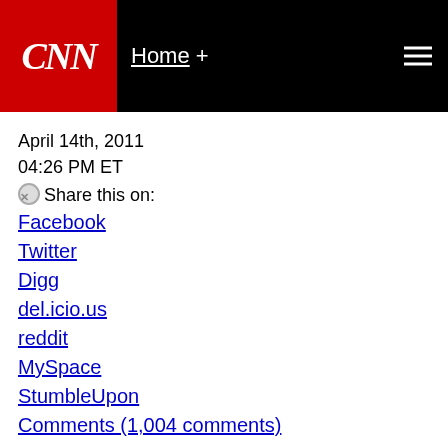CNN — Home +
April 14th, 2011
04:26 PM ET
Share this on:
Facebook
Twitter
Digg
del.icio.us
reddit
MySpace
StumbleUpon
Comments (1,004 comments)
Muslim beauty contestant faces criti... she says
By Richard Allen Greene, CNN